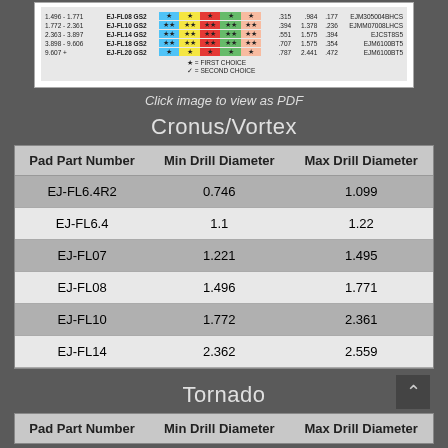[Figure (table-as-image): Color-coded drill pad selection chart with star ratings, diameter ranges, and model numbers]
Click image to view as PDF
Cronus/Vortex
| Pad Part Number | Min Drill Diameter | Max Drill Diameter |
| --- | --- | --- |
| EJ-FL6.4R2 | 0.746 | 1.099 |
| EJ-FL6.4 | 1.1 | 1.22 |
| EJ-FL07 | 1.221 | 1.495 |
| EJ-FL08 | 1.496 | 1.771 |
| EJ-FL10 | 1.772 | 2.361 |
| EJ-FL14 | 2.362 | 2.559 |
Tornado
| Pad Part Number | Min Drill Diameter | Max Drill Diameter |
| --- | --- | --- |